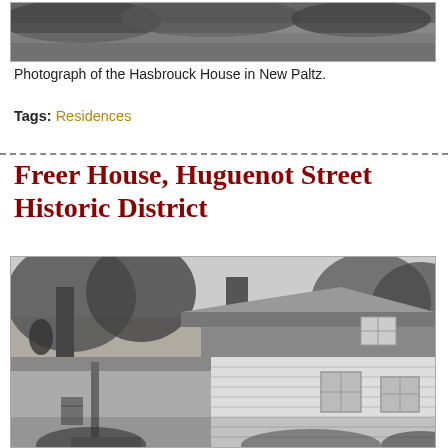[Figure (photo): Black and white photograph of the Hasbrouck House in New Paltz, partially visible at top of page]
Photograph of the Hasbrouck House in New Paltz.
Tags: Residences
Freer House, Huguenot Street Historic District
[Figure (photo): Black and white photograph of the Freer House, a white clapboard house with trees in the background, Huguenot Street Historic District]